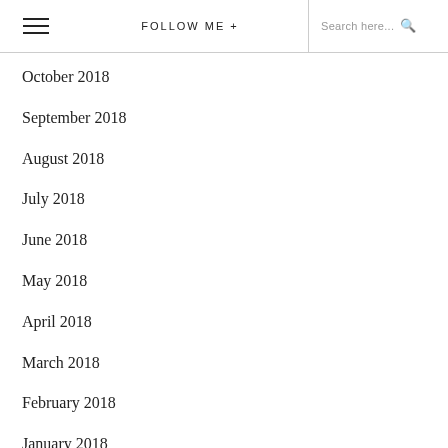FOLLOW ME + | Search here...
October 2018
September 2018
August 2018
July 2018
June 2018
May 2018
April 2018
March 2018
February 2018
January 2018
December 2017
November 2017